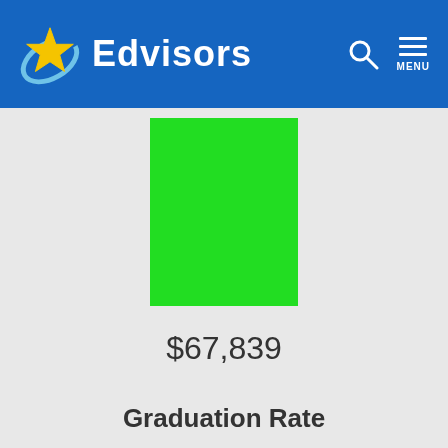Edvisors
[Figure (bar-chart): ]
$67,839
Graduation Rate